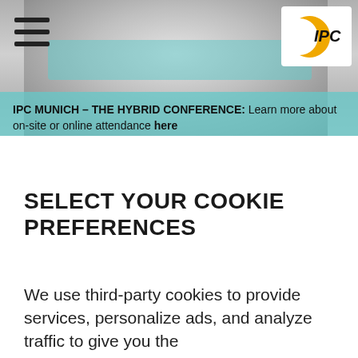[Figure (photo): Black and white close-up photo of a person's face (eyes and nose area), with teal/cyan color overlay on the eyes region. IPC logo visible top right. Hamburger menu icon top left.]
IPC MUNICH – THE HYBRID CONFERENCE: Learn more about on-site or online attendance here
SELECT YOUR COOKIE PREFERENCES
We use third-party cookies to provide services, personalize ads, and analyze traffic to give you the best experience on our website.